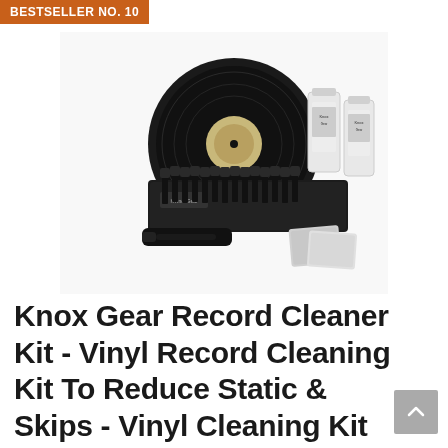BESTSELLER NO. 10
[Figure (photo): Knox Gear Record Cleaner Kit product photo showing vinyl records, cleaning solution bottles, multiple stylus brushes in a row, and microfiber cloths arranged together]
Knox Gear Record Cleaner Kit - Vinyl Record Cleaning Kit To Reduce Static & Skips - Vinyl Cleaning Kit To Clean Dust And Fingerprints - Includes